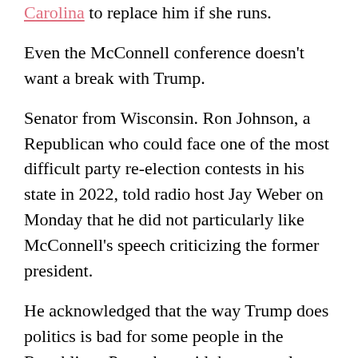Carolina to replace him if she runs.
Even the McConnell conference doesn't want a break with Trump.
Senator from Wisconsin. Ron Johnson, a Republican who could face one of the most difficult party re-election contests in his state in 2022, told radio host Jay Weber on Monday that he did not particularly like McConnell's speech criticizing the former president.
He acknowledged that the way Trump does politics is bad for some people in the Republican Party, but said those people are a